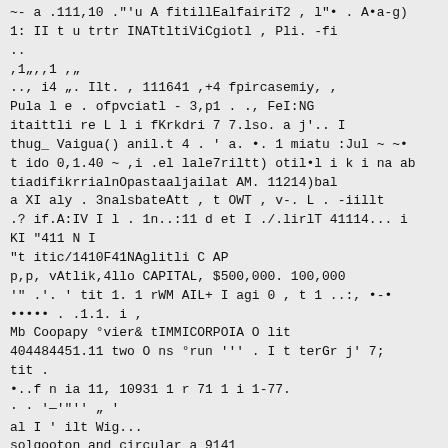~- a .111,10 ."'u A fitillEalfairiT2 , l"• . A•a-g)
1: II t u trtr INATtltiViCgiotl , Pli. -fi
..
,1„,,1 ,„
.., i4 „. Ilt. , 111641 ,+4 fpircasemiy, ,
Pula l e . ofpvciatl - 3,p1 . ., FeI:NG
itaittli re L l i fKrkdri 7 7.lso. a j'.. I
thug_ Vaigua() anil.t 4 . ' a. •. 1 miatu :Jul ~ ~•
t ido 0,1.40 ~ ,i .el lale7riltt) otil•l i k i na ab
tiadifikrrialnOpastaaljailat AM. 11214)bal
a XI aly . 3nalsbateAtt , t OWT , v-. L . -iillt
.? if.A:IV I l . 1n..:11 d et I ./.lirlT 41114... i
KI "411 N I
"t itic/1410F41NAglitli C AP
p,p, vAtlik,4llo CAPITAL, $500,000. 100,000
'" .'. ' tit 1. 1 rWM AIL+ I agi 0 , t 1 ..:, •-•
••••• . .1.1. i ,
Mb Coopapy °vier& tIMMICORPOIA O lit
404484451.11 two O ns °run ''' . I t terGr j' 7;
tit .
•..f n ia 11, 10931 1 r 71 1 i 1-77.
· · '—'"'' „ '
al I ' ilt Wig...
solgooton and circular a 9141